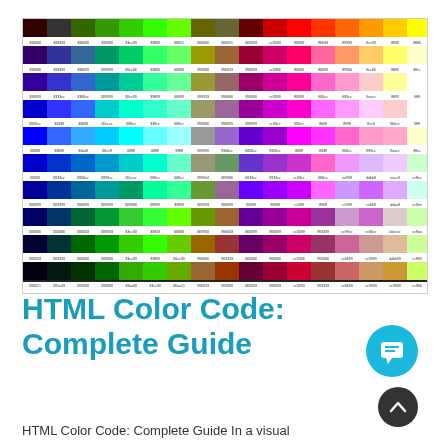[Figure (infographic): HTML color code chart showing a grid of color swatches arranged in rows and columns, each with a hex code label below it. Colors progress from dark to light across multiple rows including blues, greens, purples, reds, oranges, and yellows.]
HTML Color Code: Complete Guide
HTML Color Code: Complete Guide In a visual